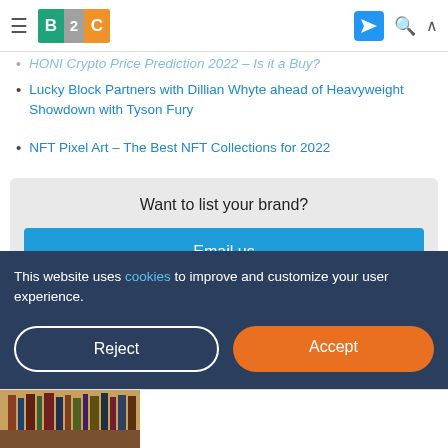B2C — Business 2 Community
HONI Crypto Price Prediction 2022 – Is it a Buy?
Lucky Block Partners with Dillian Whyte ahead of Heavyweight Showdown with Tyson Fury
NFT Pixel Art – The Best NFT Collections for 2022
Want to list your brand?
Email us
This website uses cookies to improve and customize your user experience.
Reject
Accept
[Figure (photo): Bottom partial image strip showing a bookshelf or decorative items]